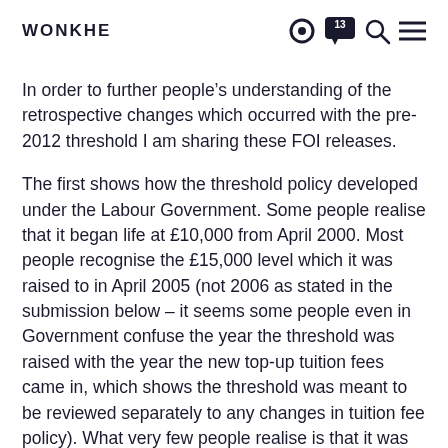WONKHE
In order to further people's understanding of the retrospective changes which occurred with the pre-2012 threshold I am sharing these FOI releases.
The first shows how the threshold policy developed under the Labour Government. Some people realise that it began life at £10,000 from April 2000. Most people recognise the £15,000 level which it was raised to in April 2005 (not 2006 as stated in the submission below – it seems some people even in Government confuse the year the threshold was raised with the year the new top-up tuition fees came in, which shows the threshold was meant to be reviewed separately to any changes in tuition fee policy). What very few people realise is that it was meant to be raised annually by RPI (at least in the